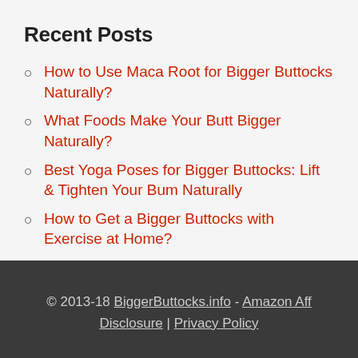Recent Posts
How to Use Maca Root for Bigger Buttocks Naturally?
What Foods Make Your Butt Bigger Naturally?
Best Yoga Poses for Bigger Buttocks: Lift & Tighten Your Bum Naturally
How to Get a Bigger Buttocks with Exercise at Home?
Vaseline or Petroleum Jelly as a Personal Lubricant for Sex? Is it Safe?
© 2013-18 BiggerButtocks.info - Amazon Aff Disclosure | Privacy Policy